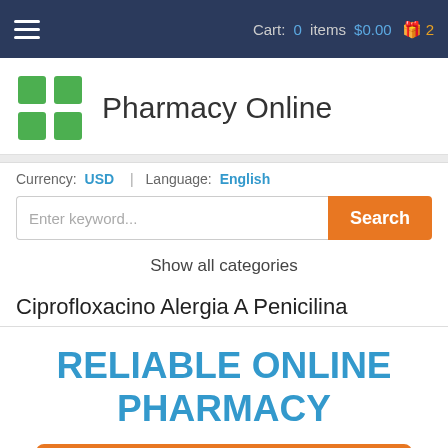Cart: 0 items $0.00  2
[Figure (logo): Green pharmacy cross logo with Pharmacy Online brand name]
Currency: USD | Language: English
Enter keyword...
Show all categories
Ciprofloxacino Alergia A Penicilina
RELIABLE ONLINE PHARMACY
> Click here to order now